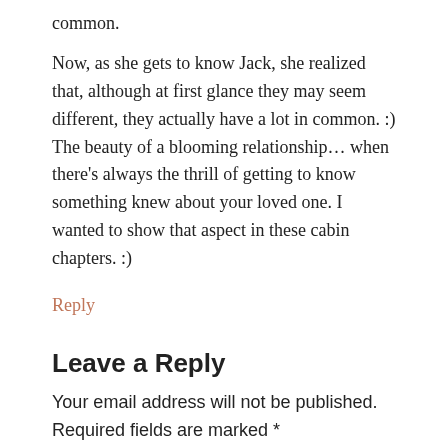common.
Now, as she gets to know Jack, she realized that, although at first glance they may seem different, they actually have a lot in common. :) The beauty of a blooming relationship… when there's always the thrill of getting to know something knew about your loved one. I wanted to show that aspect in these cabin chapters. :)
Reply
Leave a Reply
Your email address will not be published. Required fields are marked *
Comment *